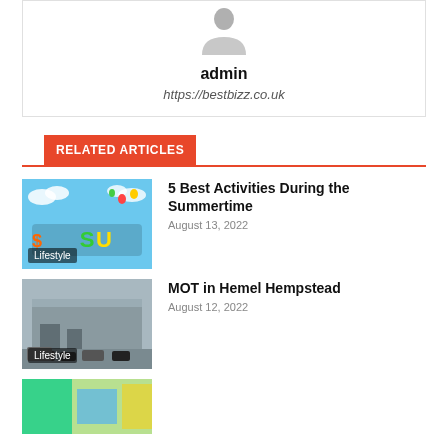[Figure (photo): Avatar silhouette icon — gray person outline on white background]
admin
https://bestbizz.co.uk
RELATED ARTICLES
[Figure (photo): Colorful summer graffiti art with balloons and blue sky background; Lifestyle badge]
5 Best Activities During the Summertime
August 13, 2022
[Figure (photo): Industrial warehouse building with parked cars and trucks in a parking lot; Lifestyle badge]
MOT in Hemel Hempstead
August 12, 2022
[Figure (photo): Partially visible thumbnail at bottom of page — colorful image]